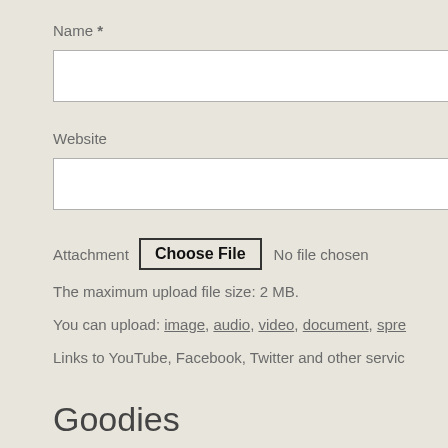Name *
[Figure (screenshot): Text input field for Name (white rectangle, partially cropped on right)]
Website
[Figure (screenshot): Text input field for Website (white rectangle, partially cropped on right)]
Attachment  Choose File  No file chosen
The maximum upload file size: 2 MB.
You can upload: image, audio, video, document, spre
Links to YouTube, Facebook, Twitter and other servic
Goodies